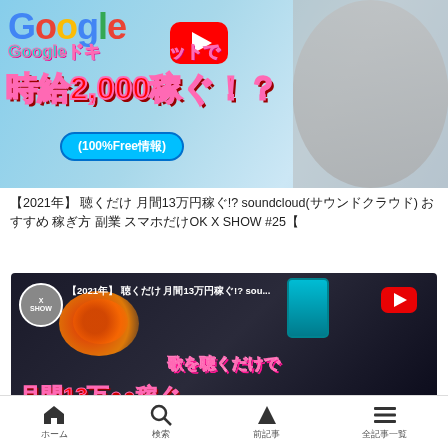[Figure (screenshot): YouTube video thumbnail showing Google logo, YouTube play button icon, Japanese text reading 'Google document site de jikyu 2,000 kasegu!?' (Earn 2,000 yen per hour with Google Docs!?), and '100%Free jouhou' bubble, with a masked person on the right]
【2021年】 聴くだけ 月間13万円稼ぐ!? soundcloud(サウンドクラウド) おすすめ 稼ぎ方 副業 スマホだけOK X SHOW #25【
[Figure (screenshot): YouTube video thumbnail showing 'X SHOW' channel avatar, video title in Japanese and English about earning 130,000 yen monthly listening to music on SoundCloud, with Japanese text '歌を聴くだけで 月間13万稼ぐ' and a person's face on the right]
ホーム　　　　検索　　　　前記事　　　　全記事一覧